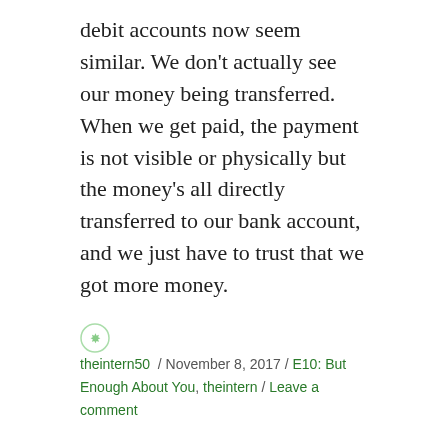debit accounts now seem similar. We don't actually see our money being transferred. When we get paid, the payment is not visible or physically but the money's all directly transferred to our bank account, and we just have to trust that we got more money.
theintern50 / November 8, 2017 / E10: But Enough About You, theintern / Leave a comment
Enough About You- LifeisSublime
“Money seems to have a big role in our society; you can't do much or get far if you don't have